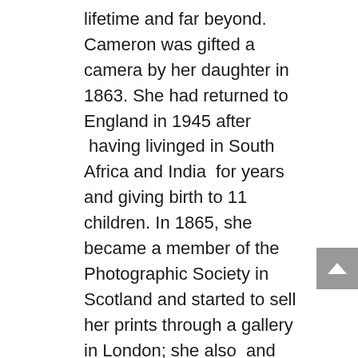lifetime and far beyond. Cameron was gifted a camera by her daughter in 1863. She had returned to England in 1945 after having livinged in South Africa and India for years and giving birth to 11 children. In 1865, she became a member of the Photographic Society in Scotland and started to sell her prints through a gallery in London; she also and had her first solo exhibition that year. She considered herself foremost an artist, but her photography earned her family extra income at a time when her husband's investments were not so profitable. Also, in 1865 the (now called) Victoria and Albert Museum in London purchased 80 photographs, and in 1868 they offered her two rooms to use as a studio, making her the first artist-in-residence at the museum. In 1875, Cameron moved with her husband back to Ceylon to be closer to her sons, who were managing coffee plantations, and this unfortunately marked the end